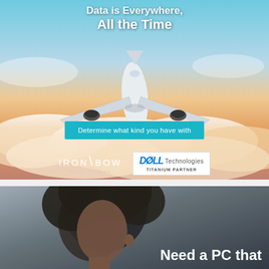[Figure (illustration): Advertisement banner showing an airplane flying above clouds with sky background. Text overlay reads 'Data is Everywhere, All the Time'. A teal CTA button reads 'Determine what kind you have with'. Iron Bow Technologies and Dell Technologies Titanium Partner logos appear at the bottom.]
[Figure (photo): Advertisement showing a Black woman with natural hair looking down, against a grey/blurred background. Text overlay reads 'Need a PC that']